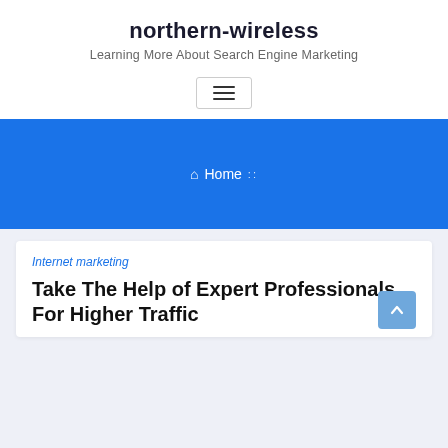northern-wireless
Learning More About Search Engine Marketing
[Figure (other): Hamburger menu button icon with three horizontal lines]
[Figure (other): Blue banner with breadcrumb navigation showing Home with house icon and separator dots]
Internet marketing
Take The Help of Expert Professionals For Higher Traffic